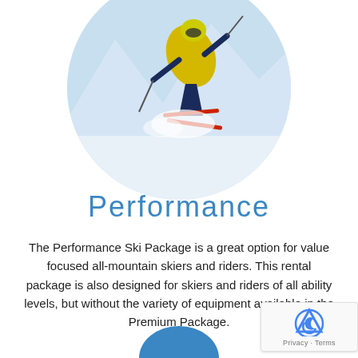[Figure (photo): Circular cropped photo of a skier in a yellow jacket and helmet carving down a snowy mountain slope with blue sky and snow-covered peaks in the background.]
Performance
The Performance Ski Package is a great option for value focused all-mountain skiers and riders. This rental package is also designed for skiers and riders of all ability levels, but without the variety of equipment available in the Premium Package.
[Figure (other): reCAPTCHA badge with Privacy and Terms links]